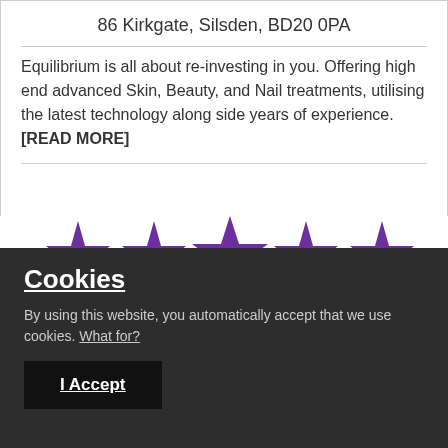86 Kirkgate, Silsden, BD20 0PA
Equilibrium is all about re-investing in you. Offering high end advanced Skin, Beauty, and Nail treatments, utilising the latest technology along side years of experience. [READ MORE]
[Figure (illustration): Five purple star rating icons arranged in a row]
Cookies
By using this website, you automatically accept that we use cookies. What for?
I Accept